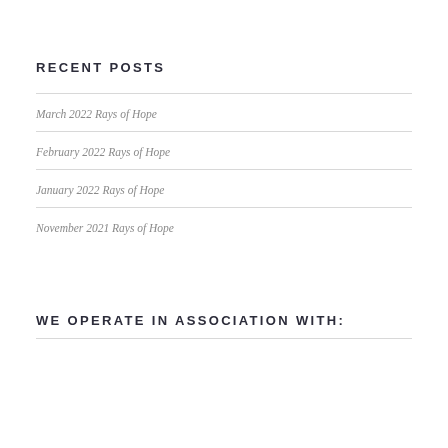RECENT POSTS
March 2022 Rays of Hope
February 2022 Rays of Hope
January 2022 Rays of Hope
November 2021 Rays of Hope
WE OPERATE IN ASSOCIATION WITH: